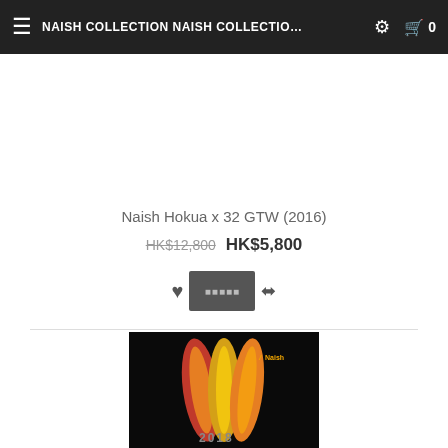NAISH COLLECTION NAISH COLLECTIO…  ⚙  🛒 0
Naish Hokua x 32 GTW (2016)
HK$12,800  HK$5,800
[Figure (screenshot): Product listing showing surfboard image area at bottom, partially visible, dark background with colorful surfboards and '2018' text visible]